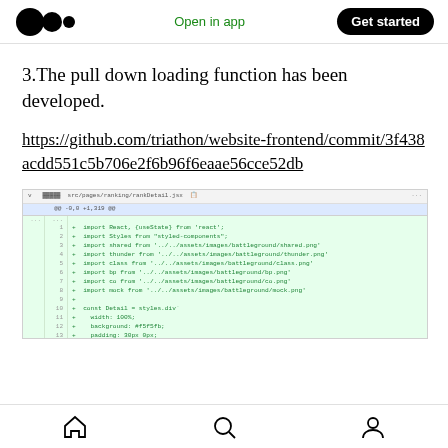Medium app header with logo, 'Open in app' link, and 'Get started' button
3.The pull down loading function has been developed.
https://github.com/triathon/website-frontend/commit/3f438acdd551c5b706e2f6b96f6eaae56cce52db
[Figure (screenshot): GitHub diff screenshot showing src/pages/ranking/rankDetail.jsx with added import statements and styled-components code in green diff lines]
Bottom navigation bar with home, search, and profile icons